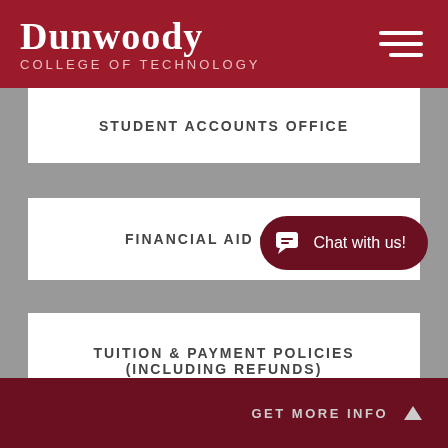Dunwoody College of Technology
STUDENT ACCOUNTS OFFICE
FINANCIAL AID OFFICE
TUITION & PAYMENT POLICIES (INCLUDING REFUNDS)
Chat with us!
GET MORE INFO